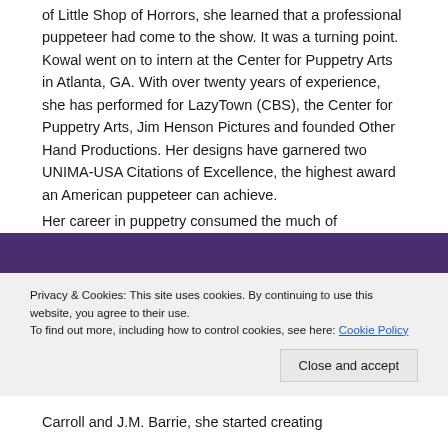of Little Shop of Horrors, she learned that a professional puppeteer had come to the show. It was a turning point. Kowal went on to intern at the Center for Puppetry Arts in Atlanta, GA. With over twenty years of experience, she has performed for LazyTown (CBS), the Center for Puppetry Arts, Jim Henson Pictures and founded Other Hand Productions. Her designs have garnered two UNIMA-USA Citations of Excellence, the highest award an American puppeteer can achieve.

Her career in puppetry consumed the much of
Privacy & Cookies: This site uses cookies. By continuing to use this website, you agree to their use.
To find out more, including how to control cookies, see here: Cookie Policy
Carroll and J.M. Barrie, she started creating